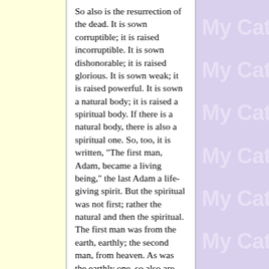So also is the resurrection of the dead. It is sown corruptible; it is raised incorruptible. It is sown dishonorable; it is raised glorious. It is sown weak; it is raised powerful. It is sown a natural body; it is raised a spiritual body. If there is a natural body, there is also a spiritual one. So, too, it is written, "The first man, Adam, became a living being," the last Adam a life-giving spirit. But the spiritual was not first; rather the natural and then the spiritual. The first man was from the earth, earthly; the second man, from heaven. As was the earthly one, so also are the earthly, and as is the